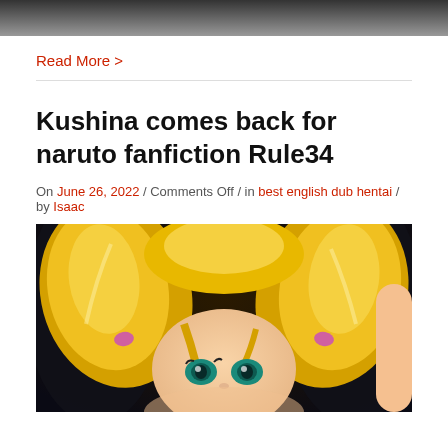[Figure (photo): Top cropped image, dark tones, partial view]
Read More >
Kushina comes back for naruto fanfiction Rule34
On June 26, 2022 / Comments Off / in best english dub hentai / by Isaac
[Figure (illustration): Anime illustration of a blonde character with pigtails and teal eyes on dark background]